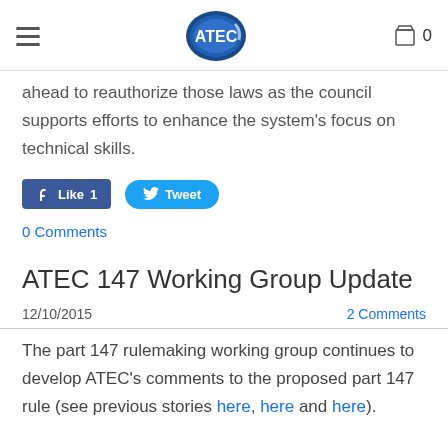ATEC (logo) 0
ahead to reauthorize those laws as the council supports efforts to enhance the system's focus on technical skills.
[Figure (screenshot): Facebook Like button showing count of 1 and Twitter Tweet button]
0 Comments
ATEC 147 Working Group Update
12/10/2015
2 Comments
The part 147 rulemaking working group continues to develop ATEC's comments to the proposed part 147 rule (see previous stories here, here and here).